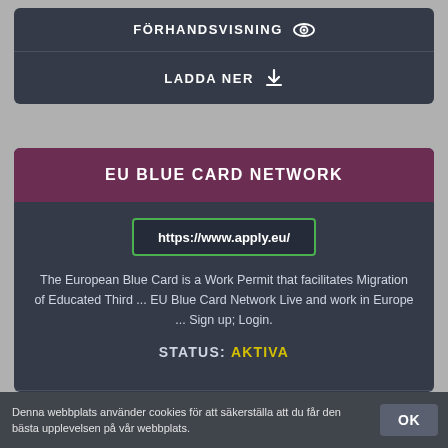[Figure (screenshot): Top dark card with FÖRHANDSVISNING (preview) button with eye icon and LADDA NER (download) button with download icon]
[Figure (screenshot): EU Blue Card Network card with purple header, URL https://www.apply.eu/, description text, STATUS: AKTIVA in yellow, and FÖRHANDSVISNING/LADDA NER buttons]
Denna webbplats använder cookies för att säkerställa att du får den bästa upplevelsen på vår webbplats.